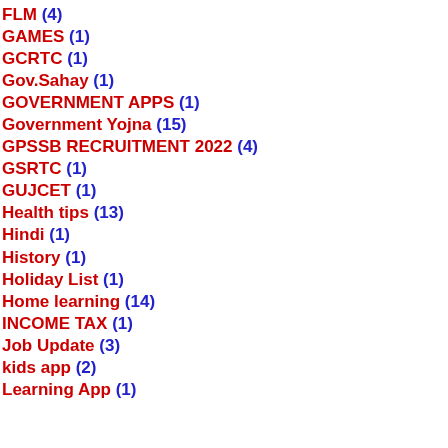FLM (4)
GAMES (1)
GCRTC (1)
Gov.Sahay (1)
GOVERNMENT APPS (1)
Government Yojna (15)
GPSSB RECRUITMENT 2022 (4)
GSRTC (1)
GUJCET (1)
Health tips (13)
Hindi (1)
History (1)
Holiday List (1)
Home learning (14)
INCOME TAX (1)
Job Update (3)
kids app (2)
Learning App (1)